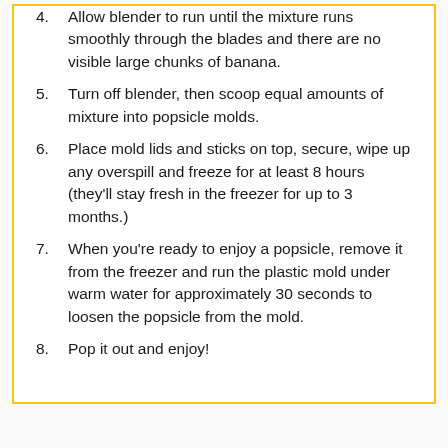4. Allow blender to run until the mixture runs smoothly through the blades and there are no visible large chunks of banana.
5. Turn off blender, then scoop equal amounts of mixture into popsicle molds.
6. Place mold lids and sticks on top, secure, wipe up any overspill and freeze for at least 8 hours (they'll stay fresh in the freezer for up to 3 months.)
7. When you're ready to enjoy a popsicle, remove it from the freezer and run the plastic mold under warm water for approximately 30 seconds to loosen the popsicle from the mold.
8. Pop it out and enjoy!